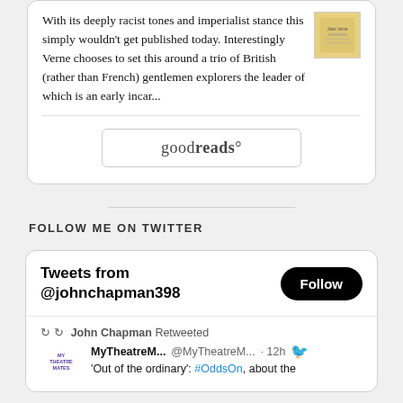With its deeply racist tones and imperialist stance this simply wouldn't get published today. Interestingly Verne chooses to set this around a trio of British (rather than French) gentlemen explorers the leader of which is an early incar...
[Figure (screenshot): Goodreads button with rounded rectangle border]
FOLLOW ME ON TWITTER
Tweets from @johnchapman398
John Chapman Retweeted
MyTheatreM... @MyTheatreM... · 12h
'Out of the ordinary': #OddsOn, about the